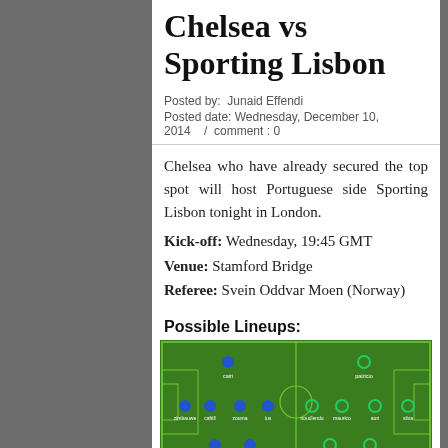Chelsea vs Sporting Lisbon
Posted by:  Junaid Effendi
Posted date: Wednesday, December 10, 2014    /  comment : 0
Chelsea who have already secured the top spot will host Portuguese side Sporting Lisbon tonight in London.
Kick-off: Wednesday, 19:45 GMT
Venue: Stamford Bridge
Referee: Svein Oddvar Moen (Norway)
Possible Lineups:
[Figure (infographic): Soccer field diagram showing possible lineups for Chelsea vs Sporting Lisbon, with player positions marked as colored dots (blue for Chelsea, green/white for Sporting) with player names below each dot.]